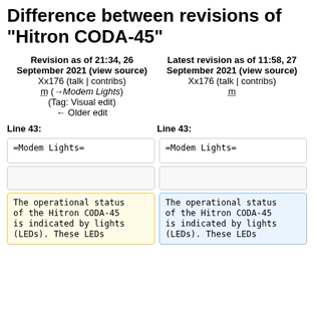Difference between revisions of "Hitron CODA-45"
Revision as of 21:34, 26 September 2021 (view source)
Xx176 (talk | contribs)
m (→Modem Lights)
(Tag: Visual edit)
← Older edit
Latest revision as of 11:58, 27 September 2021 (view source)
Xx176 (talk | contribs)
m
Line 43:
Line 43:
=Modem Lights=
=Modem Lights=
The operational status of the Hitron CODA-45 is indicated by lights (LEDs). These LEDs
The operational status of the Hitron CODA-45 is indicated by lights (LEDs). These LEDs